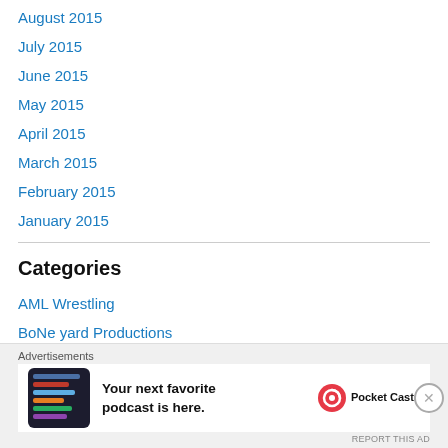August 2015
July 2015
June 2015
May 2015
April 2015
March 2015
February 2015
January 2015
Categories
AML Wrestling
BoNe yard Productions
Booking The Territory Podcast
Dynamo Pro Wrestling
Advertisements
[Figure (screenshot): Pocket Casts advertisement: 'Your next favorite podcast is here.' with app screenshot and Pocket Casts logo]